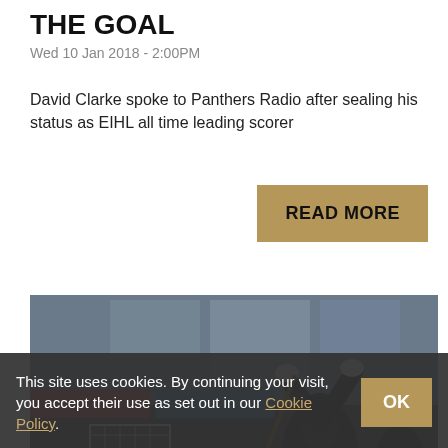THE GOAL
Wed 10 Jan 2018 - 2:00PM
David Clarke spoke to Panthers Radio after sealing his status as EIHL all time leading scorer
READ MORE
[Figure (photo): Ice hockey player in black and yellow jersey celebrating a goal, arms raised, inside a rink with advertising boards visible including EARTH and other sponsors]
This site uses cookies. By continuing your visit, you accept their use as set out in our Cookie Policy.